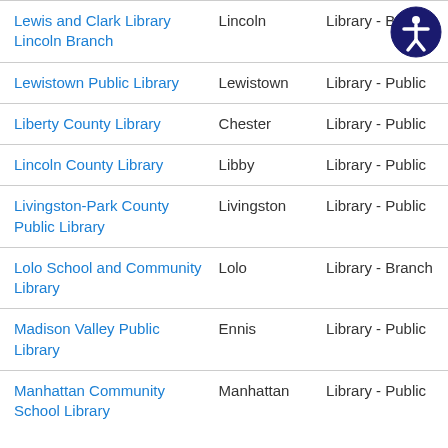| Library Name | City | Type |
| --- | --- | --- |
| Lewis and Clark Library Lincoln Branch | Lincoln | Library - Branch |
| Lewistown Public Library | Lewistown | Library - Public |
| Liberty County Library | Chester | Library - Public |
| Lincoln County Library | Libby | Library - Public |
| Livingston-Park County Public Library | Livingston | Library - Public |
| Lolo School and Community Library | Lolo | Library - Branch |
| Madison Valley Public Library | Ennis | Library - Public |
| Manhattan Community School Library | Manhattan | Library - Public |